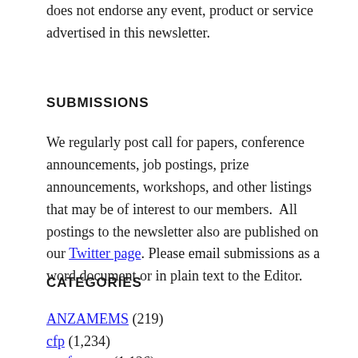does not endorse any event, product or service advertised in this newsletter.
SUBMISSIONS
We regularly post call for papers, conference announcements, job postings, prize announcements, workshops, and other listings that may be of interest to our members.  All postings to the newsletter also are published on our Twitter page. Please email submissions as a word document or in plain text to the Editor.
CATEGORIES
ANZAMEMS (219)
cfp (1,234)
conference (1,126)